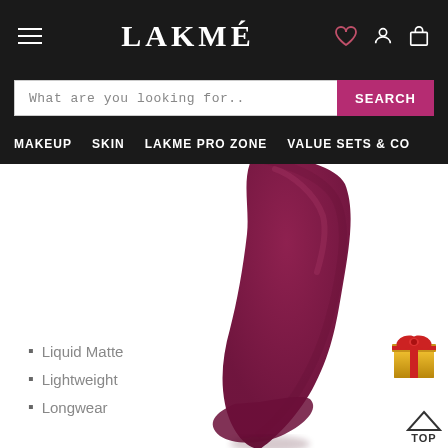LAKMÉ
What are you looking for..
SEARCH
MAKEUP   SKIN   LAKME PRO ZONE   VALUE SETS & CO
[Figure (photo): Dark magenta/berry liquid lipstick smear swatch on white background]
Liquid Matte
Lightweight
Longwear
[Figure (illustration): Gift box icon in gold and red]
TOP